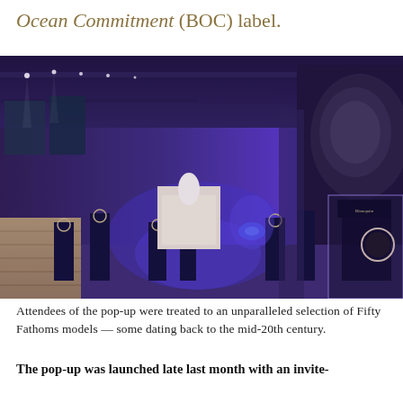Ocean Commitment (BOC) label.
[Figure (photo): Interior of a luxury watch pop-up exhibition space with blue ambient lighting. Dark display plinths with Blancpain Fifty Fathoms watches are arranged along a corridor. Large photographic banners of ocean imagery hang on the walls. A sea turtle image is visible on the right wall.]
Attendees of the pop-up were treated to an unparalleled selection of Fifty Fathoms models — some dating back to the mid-20th century.
The pop-up was launched late last month with an invite-